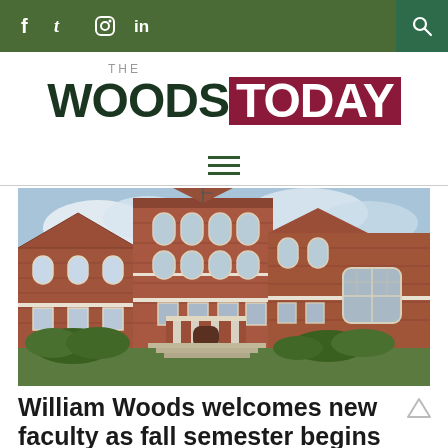f  t  [instagram]  in  [search]
THE WOODS TODAY
[Figure (other): Hamburger/menu icon — three horizontal lines]
[Figure (photo): Exterior photograph of a red-brick multi-story college building (William Woods University) with white trim, arched windows, a stone staircase, and shrubs in the foreground under a partly cloudy sky.]
William Woods welcomes new faculty as fall semester begins